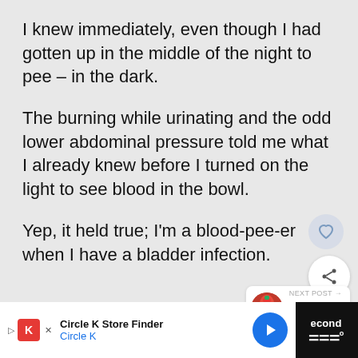I knew immediately, even though I had gotten up in the middle of the night to pee – in the dark.
The burning while urinating and the odd lower abdominal pressure told me what I already knew before I turned on the light to see blood in the bowl.
Yep, it held true; I'm a blood-pee-er when I have a bladder infection.
[Figure (screenshot): Next post widget showing a cranberry smoothie thumbnail with text 'Cranberry Smoothie']
[Figure (screenshot): Advertisement banner for Circle K Store Finder with Circle K logo and navigation arrow button]